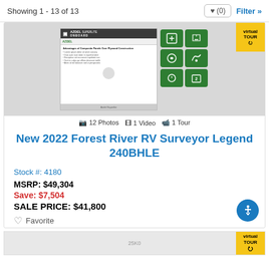Showing 1 - 13 of 13
[Figure (screenshot): Azdel Superlite OnBoard product brochure image showing a document with green icons grid on the right]
📷 12 Photos  🎞 1 Video  📹 1 Tour
New 2022 Forest River RV Surveyor Legend 240BHLE
Stock #: 4180
MSRP: $49,304
Save: $7,504
SALE PRICE: $41,800
♡ Favorite